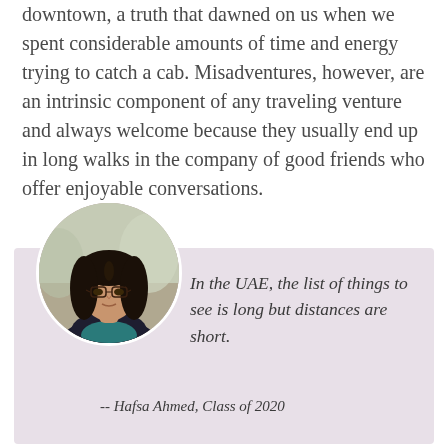downtown, a truth that dawned on us when we spent considerable amounts of time and energy trying to catch a cab. Misadventures, however, are an intrinsic component of any traveling venture and always welcome because they usually end up in long walks in the company of good friends who offer enjoyable conversations.
[Figure (photo): Circular portrait photo of Hafsa Ahmed, a young woman with long dark hair wearing glasses and a dark floral top, photographed outdoors.]
In the UAE, the list of things to see is long but distances are short.
-- Hafsa Ahmed, Class of 2020